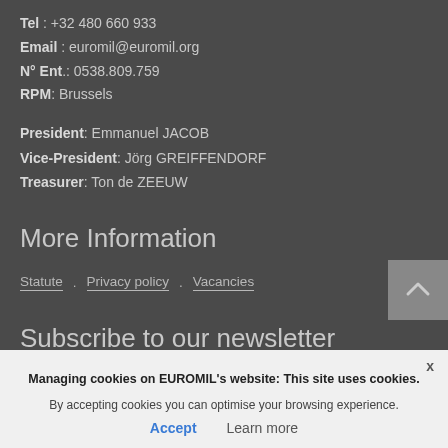Tel : +32 480 660 933
Email : euromil@euromil.org
N° Ent.: 0538.809.759
RPM: Brussels
President: Emmanuel JACOB
Vice-President: Jörg GREIFFENDORF
Treasurer: Ton de ZEEUW
More Information
Statute . Privacy policy . Vacancies
Subscribe to our newsletter
Managing cookies on EUROMIL's website: This site uses cookies. By accepting cookies you can optimise your browsing experience.